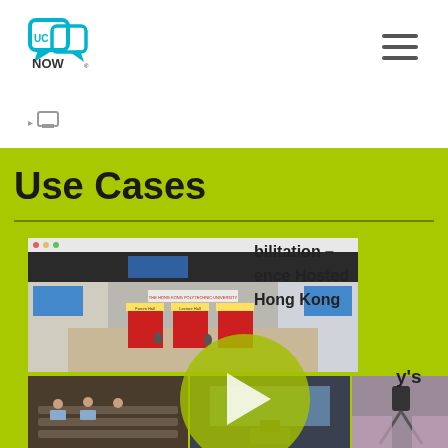[Figure (logo): UC Now logo - chat bubble icon with text UC NOW]
[Figure (infographic): Hamburger menu icon (three horizontal lines) in top right corner]
[Figure (infographic): Small person/chair navigation icon below logo]
Use Cases
[Figure (photo): Virtual conference hall screenshot showing a 3D rendered exhibition space with screens, Forum Hall and Lecture Hall doors, and attendees walking around. Below are real photos of conference attendees at desks with laptops, camera operators, and a speaker at a podium. A large semi-transparent play button overlay is in the center. Partial text visible on right side reads: '...bilitation – ...ence Hosted ...Hong Kong ...y's']